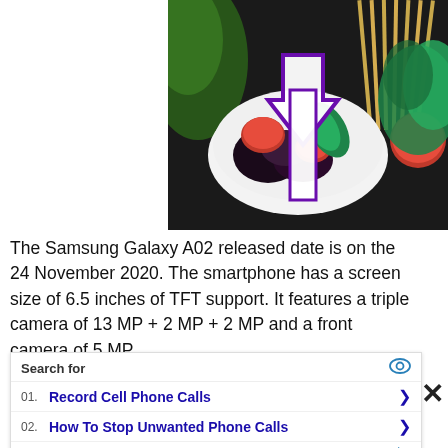[Figure (photo): Food photo showing a white bowl with roasted tomatoes, dark olives/eggplant, garnished with green basil leaves. Surrounding items include dry pasta sticks, more tomatoes, and herbs on a dark background. A white arrow with purple outline overlay points upward.]
The Samsung Galaxy A02 released date is on the 24 November 2020. The smartphone has a screen size of 6.5 inches of TFT support. It features a triple camera of 13 MP + 2 MP + 2 MP and a front camera of 5 MP.
It ha
Snap
stora
and also comes with fast charging. The Samsung
[Figure (screenshot): Yahoo Search sponsored ad overlay with 'Search for' header with eye icon, listing: 01. Record Cell Phone Calls >, 02. How To Stop Unwanted Phone Calls >, Yahoo! Search | Sponsored footer with play icon. Also has X close button.]